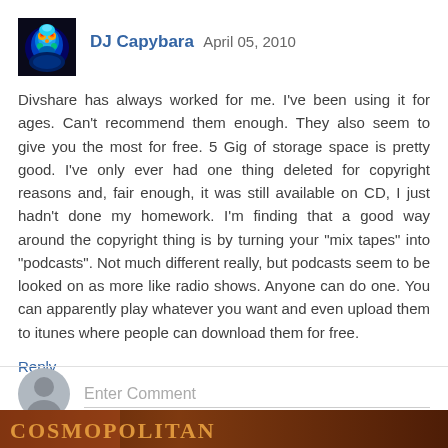[Figure (photo): Thermal/heat-map style avatar image of a face with rainbow colors (red, orange, yellow, blue) on dark background]
DJ Capybara April 05, 2010
Divshare has always worked for me. I've been using it for ages. Can't recommend them enough. They also seem to give you the most for free. 5 Gig of storage space is pretty good. I've only ever had one thing deleted for copyright reasons and, fair enough, it was still available on CD, I just hadn't done my homework. I'm finding that a good way around the copyright thing is by turning your "mix tapes" into "podcasts". Not much different really, but podcasts seem to be looked on as more like radio shows. Anyone can do one. You can apparently play whatever you want and even upload them to itunes where people can download them for free.
Reply
[Figure (illustration): Generic grey silhouette avatar (person icon) for anonymous comment entry]
Enter Comment
[Figure (photo): Bottom banner image with orange/brown background and decorative text]